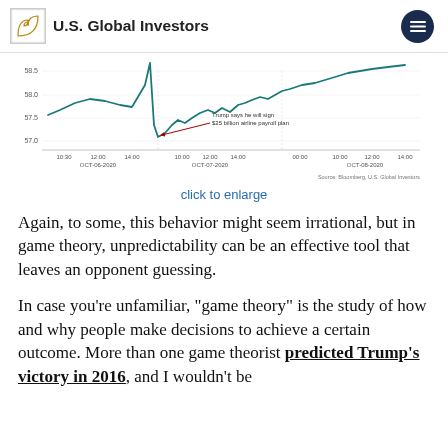U.S. Global Investors
[Figure (line-chart): Partial line chart showing price movement over OCT-06-2020, OCT-07-2020, OCT-08-2020 with annotation: Trump says he will sign $25 billion airline payroll plan. Y-axis ranges approximately 57.6 to 58.5. Source: Bloomberg, U.S. Global Investors.]
click to enlarge
Again, to some, this behavior might seem irrational, but in game theory, unpredictability can be an effective tool that leaves an opponent guessing.
In case you're unfamiliar, “game theory” is the study of how and why people make decisions to achieve a certain outcome. More than one game theorist predicted Trump’s victory in 2016, and I wouldn’t be